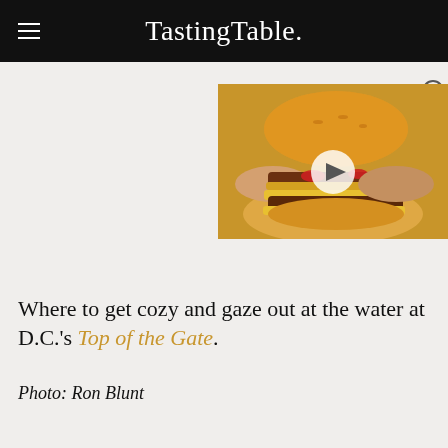Tasting Table.
[Figure (photo): Video thumbnail showing hands holding a large double cheeseburger with bacon and red peppers, with a play button overlay. A close (X) button appears in the upper right corner of the widget.]
Where to get cozy and gaze out at the water at D.C.'s Top of the Gate.
Photo: Ron Blunt